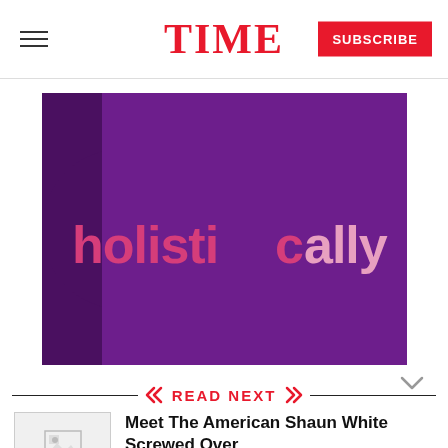TIME
[Figure (screenshot): TIME magazine website screenshot showing the 'holistically' video/podcast thumbnail with purple background and pink/white text]
READ NEXT
[Figure (photo): Article thumbnail image (broken/loading)]
Meet The American Shaun White Screwed Over